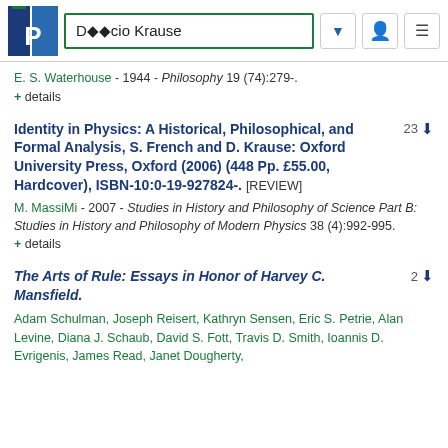[Figure (screenshot): Navigation bar with PhilPapers logo, search box showing 'D??cio Krause', dropdown arrow, user icon, and hamburger menu icon]
E. S. Waterhouse - 1944 - Philosophy 19 (74):279-.
+ details
Identity in Physics: A Historical, Philosophical, and Formal Analysis, S. French and D. Krause: Oxford University Press, Oxford (2006) (448 Pp. £55.00, Hardcover), ISBN-10:0-19-927824-. [REVIEW]
23 [download icon]
M. MassiMi - 2007 - Studies in History and Philosophy of Science Part B: Studies in History and Philosophy of Modern Physics 38 (4):992-995.
+ details
The Arts of Rule: Essays in Honor of Harvey C. Mansfield.
2 [download icon]
Adam Schulman, Joseph Reisert, Kathryn Sensen, Eric S. Petrie, Alan Levine, Diana J. Schaub, David S. Fott, Travis D. Smith, Ioannis D. Evrigenis, James Read, Janet Dougherty,